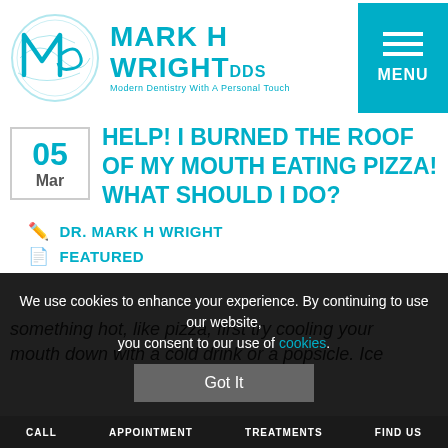MARK H WRIGHT DDS — Modern Dentistry With A Personal Touch
HELP! I BURNED THE ROOF OF MY MOUTH EATING PIZZA! WHAT SHOULD I DO?
05 Mar
DR. MARK H WRIGHT
FEATURED
something hot, like pizza, first try cooling your mouth down with a cold drink or a popsicle. Ice
We use cookies to enhance your experience. By continuing to use our website, you consent to our use of cookies.
CALL   APPOINTMENT   TREATMENTS   FIND US